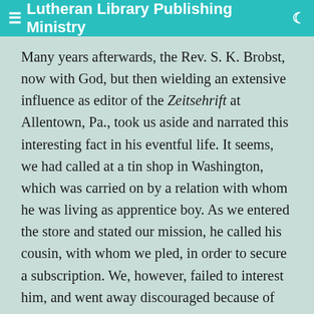≡ Lutheran Library Publishing Ministry 🌙
Many years afterwards, the Rev. S. K. Brobst, now with God, but then wielding an extensive influence as editor of the Zeitsehrift at Allentown, Pa., took us aside and narrated this interesting fact in his eventful life. It seems, we had called at a tin shop in Washington, which was carried on by a relation with whom he was living as apprentice boy. As we entered the store and stated our mission, he called his cousin, with whom we pled, in order to secure a subscription. We, however, failed to interest him, and went away discouraged because of our poor success. The paper, however, which we left, fell into the hands of the thoughtful lad. It awakened in him the desire to became a minister, and after we left he became a subscriber. In a short time, he began his studies at Washington and continued at Jefferson College. The